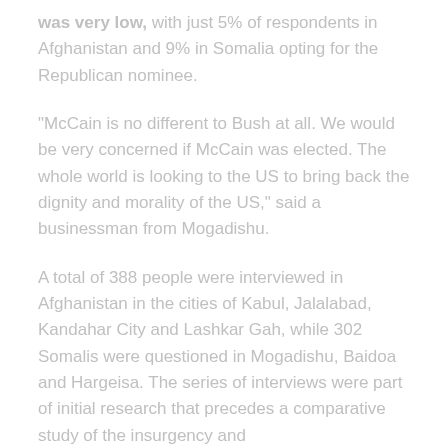was very low, with just 5% of respondents in Afghanistan and 9% in Somalia opting for the Republican nominee.
"McCain is no different to Bush at all. We would be very concerned if McCain was elected. The whole world is looking to the US to bring back the dignity and morality of the US," said a businessman from Mogadishu.
A total of 388 people were interviewed in Afghanistan in the cities of Kabul, Jalalabad, Kandahar City and Lashkar Gah, while 302 Somalis were questioned in Mogadishu, Baidoa and Hargeisa. The series of interviews were part of initial research that precedes a comparative study of the insurgency and